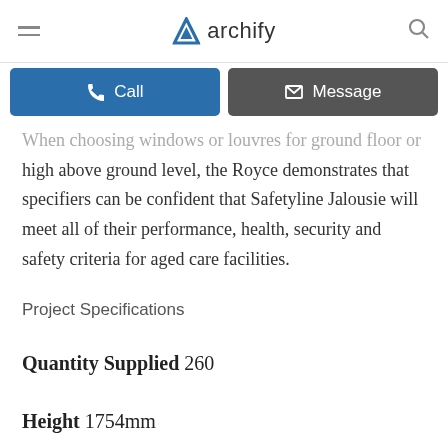archify
When choosing windows or louvres for ground floor or high above ground level, the Royce demonstrates that specifiers can be confident that Safetyline Jalousie will meet all of their performance, health, security and safety criteria for aged care facilities.
Project Specifications
Quantity Supplied 260
Height 1754mm